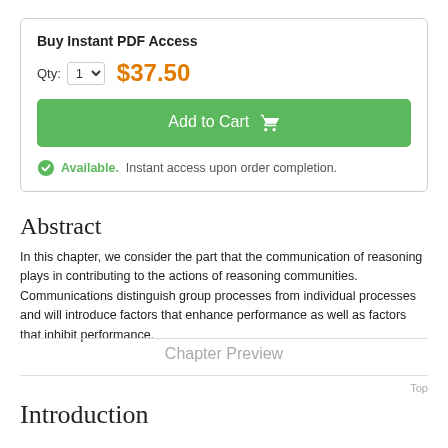Buy Instant PDF Access
Qty: 1  $37.50
Add to Cart
Available.  Instant access upon order completion.
Abstract
In this chapter, we consider the part that the communication of reasoning plays in contributing to the actions of reasoning communities. Communications distinguish group processes from individual processes and will introduce factors that enhance performance as well as factors that inhibit performance.
Chapter Preview
Top
Introduction